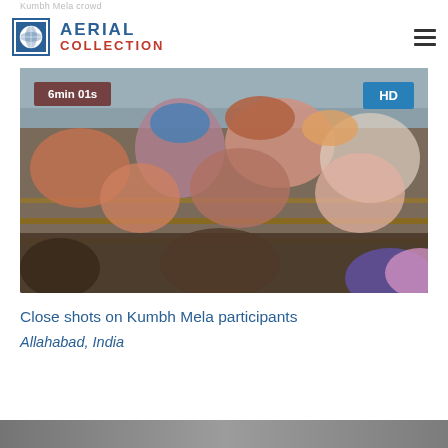Kumbh Mela crowd
[Figure (logo): Aerial Collection logo with globe icon, blue AERIAL text and red COLLECTION text]
[Figure (photo): Close-up photo of Kumbh Mela participants in a crowd, carrying bags and bundles, separated by wooden barriers. Duration badge: 6min 01s. HD badge visible.]
Close shots on Kumbh Mela participants
Allahabad, India
[Figure (photo): Partial view of another video thumbnail at the bottom of the page]